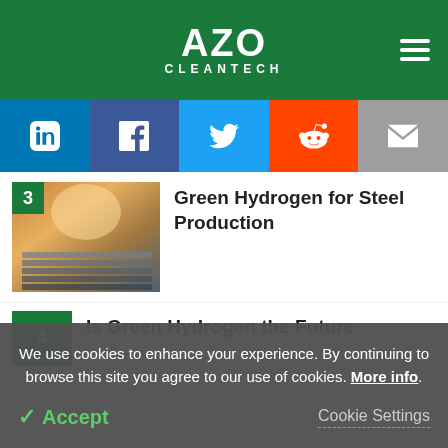AZO CLEANTECH
[Figure (screenshot): Social sharing buttons: LinkedIn, Facebook, Twitter, Reddit, Email]
[Figure (photo): Steel production facility with glowing metal and stacked steel bars, numbered 3]
Green Hydrogen for Steel Production
Is Green Hydrogen the Future
We use cookies to enhance your experience. By continuing to browse this site you agree to our use of cookies. More info.
Accept
Cookie Settings